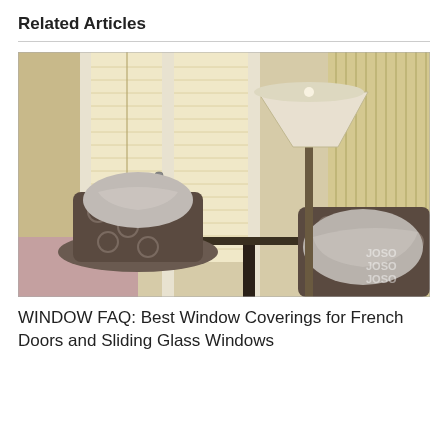Related Articles
[Figure (photo): Interior living room scene with patterned armchairs with fluffy pillows, a floor lamp with a wide shade, and French doors covered with cream/beige cellular pleated blinds. Striped wall paneling visible on the right. Watermark 'JOSO' visible in lower right corner.]
WINDOW FAQ: Best Window Coverings for French Doors and Sliding Glass Windows